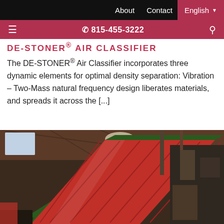About   Contact   English
☎ 815-455-3222
DE-STONER® AIR CLASSIFIER
The DE-STONER® Air Classifier incorporates three dynamic elements for optimal density separation: Vibration – Two-Mass natural frequency design liberates materials, and spreads it across the [...]
[Figure (photo): Industrial conveyor/air classifier equipment – a large inclined red and green conveyor belt machine inside a factory/warehouse setting.]